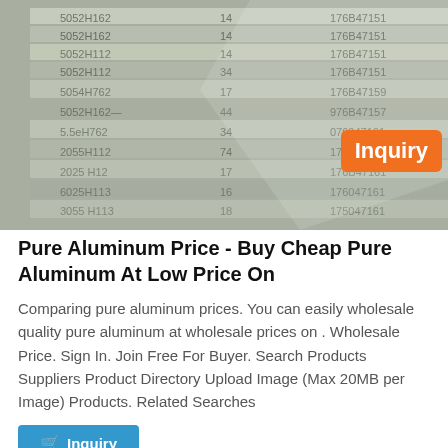[Figure (photo): Stacked aluminum ingots or plates with stamped numbers (e.g. 5052H162, 176B47151) visible on edges. An orange 'Inquiry' badge is overlaid on the bottom-right of the photo.]
Pure Aluminum Price - Buy Cheap Pure Aluminum At Low Price On
Comparing pure aluminum prices. You can easily wholesale quality pure aluminum at wholesale prices on . Wholesale Price. Sign In. Join Free For Buyer. Search Products Suppliers Product Directory Upload Image (Max 20MB per Image) Products. Related Searches
Inquiry